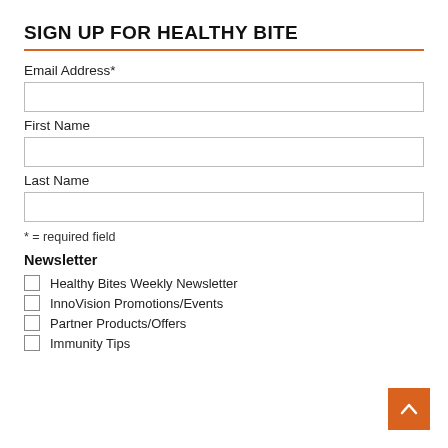SIGN UP FOR HEALTHY BITE
Email Address*
First Name
Last Name
* = required field
Newsletter
Healthy Bites Weekly Newsletter
InnoVision Promotions/Events
Partner Products/Offers
Immunity Tips